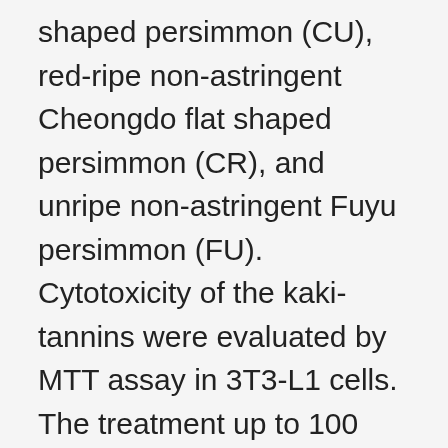shaped persimmon (CU), red-ripe non-astringent Cheongdo flat shaped persimmon (CR), and unripe non-astringent Fuyu persimmon (FU). Cytotoxicity of the kaki-tannins were evaluated by MTT assay in 3T3-L1 cells. The treatment up to 100 μg/mL of all kaki-tannins for 24 h did not affect to the 3T3-L1 cell viability